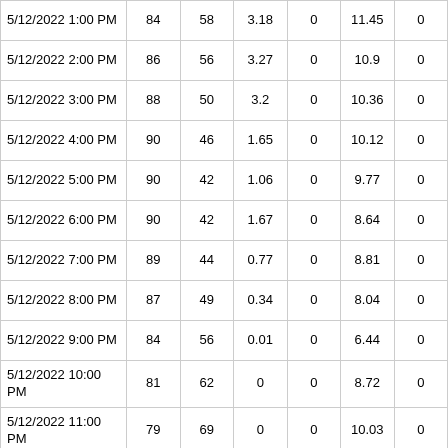| 5/12/2022 1:00 PM | 84 | 58 | 3.18 | 0 | 11.45 | 0 |
| 5/12/2022 2:00 PM | 86 | 56 | 3.27 | 0 | 10.9 | 0 |
| 5/12/2022 3:00 PM | 88 | 50 | 3.2 | 0 | 10.36 | 0 |
| 5/12/2022 4:00 PM | 90 | 46 | 1.65 | 0 | 10.12 | 0 |
| 5/12/2022 5:00 PM | 90 | 42 | 1.06 | 0 | 9.77 | 0 |
| 5/12/2022 6:00 PM | 90 | 42 | 1.67 | 0 | 8.64 | 0 |
| 5/12/2022 7:00 PM | 89 | 44 | 0.77 | 0 | 8.81 | 0 |
| 5/12/2022 8:00 PM | 87 | 49 | 0.34 | 0 | 8.04 | 0 |
| 5/12/2022 9:00 PM | 84 | 56 | 0.01 | 0 | 6.44 | 0 |
| 5/12/2022 10:00 PM | 81 | 62 | 0 | 0 | 8.72 | 0 |
| 5/12/2022 11:00 PM | 79 | 69 | 0 | 0 | 10.03 | 0 |